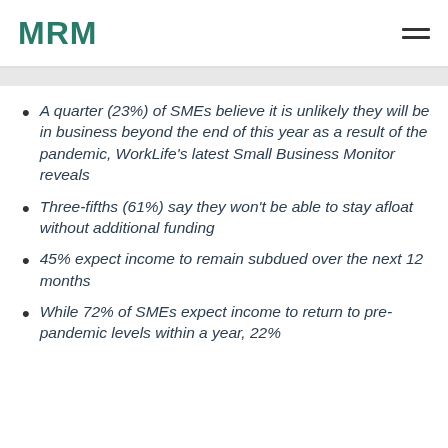MRM
A quarter (23%) of SMEs believe it is unlikely they will be in business beyond the end of this year as a result of the pandemic, WorkLife's latest Small Business Monitor reveals
Three-fifths (61%) say they won't be able to stay afloat without additional funding
45% expect income to remain subdued over the next 12 months
While 72% of SMEs expect income to return to pre-pandemic levels within a year, 22%